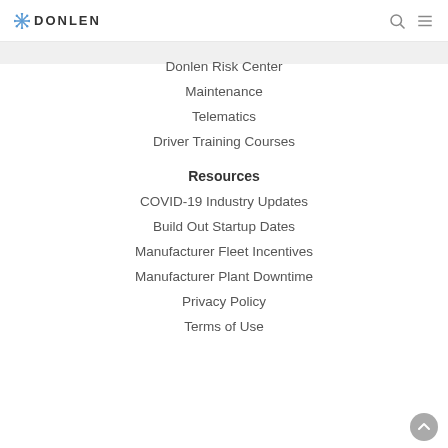DONLEN
Donlen Risk Center
Maintenance
Telematics
Driver Training Courses
Resources
COVID-19 Industry Updates
Build Out Startup Dates
Manufacturer Fleet Incentives
Manufacturer Plant Downtime
Privacy Policy
Terms of Use